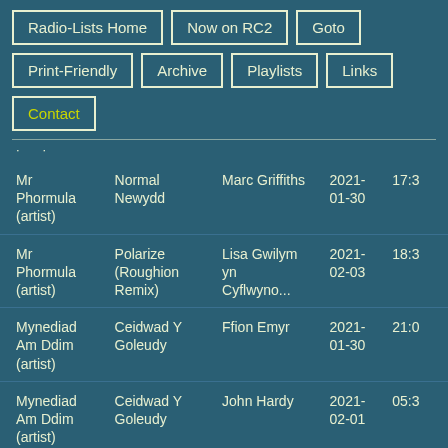Radio-Lists Home
Now on RC2
Goto
Print-Friendly
Archive
Playlists
Links
Contact
· ·
| Artist | Track | Show | Date | Time |
| --- | --- | --- | --- | --- |
| Mr Phormula (artist) | Normal Newydd | Marc Griffiths | 2021-01-30 | 17:3 |
| Mr Phormula (artist) | Polarize (Roughion Remix) | Lisa Gwilym yn Cyflwyno... | 2021-02-03 | 18:3 |
| Mynediad Am Ddim (artist) | Ceidwad Y Goleudy | Ffion Emyr | 2021-01-30 | 21:0 |
| Mynediad Am Ddim (artist) | Ceidwad Y Goleudy | John Hardy | 2021-02-01 | 05:3 |
| Mynediad Am Ddim (artist) | Hi Yw Fy Ffrind | Geraint Lloyd | 2021-02-01 | 22:0 |